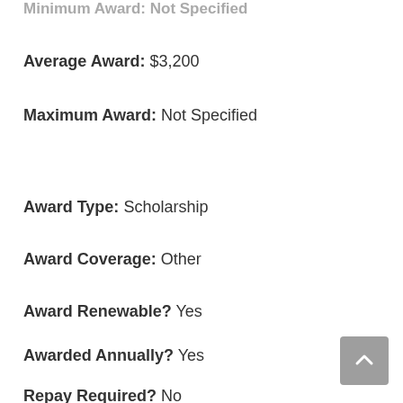Minimum Award: Not Specified
Average Award: $3,200
Maximum Award: Not Specified
Award Type: Scholarship
Award Coverage: Other
Award Renewable? Yes
Awarded Annually? Yes
Repay Required? No